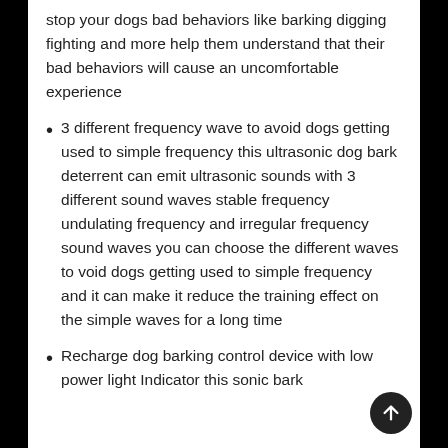stop your dogs bad behaviors like barking digging fighting and more help them understand that their bad behaviors will cause an uncomfortable experience
3 different frequency wave to avoid dogs getting used to simple frequency this ultrasonic dog bark deterrent can emit ultrasonic sounds with 3 different sound waves stable frequency undulating frequency and irregular frequency sound waves you can choose the different waves to void dogs getting used to simple frequency and it can make it reduce the training effect on the simple waves for a long time
Recharge dog barking control device with low power light Indicator this sonic bark